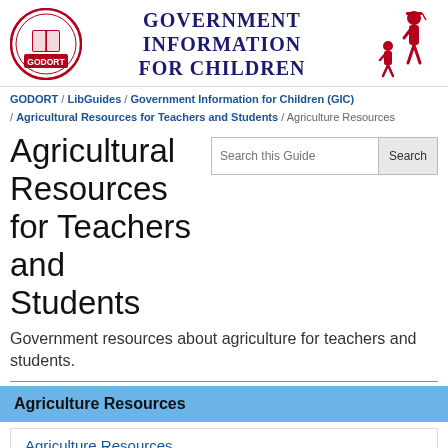GOVERNMENT INFORMATION FOR CHILDREN
GODORT / LibGuides / Government Information for Children (GIC) / Agricultural Resources for Teachers and Students / Agriculture Resources
Agricultural Resources for Teachers and Students
Government resources about agriculture for teachers and students.
Agriculture Resources
Agriculture Resources
Lesson Plans
Standards